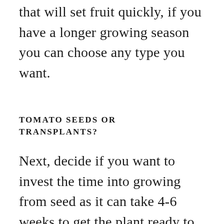that will set fruit quickly, if you have a longer growing season you can choose any type you want.
TOMATO SEEDS OR TRANSPLANTS?
Next, decide if you want to invest the time into growing from seed as it can take 4-6 weeks to get the plant ready to